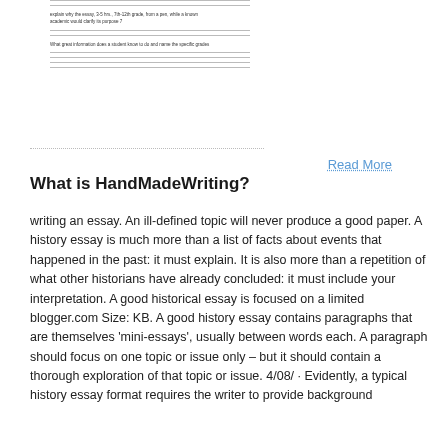[Figure (other): A partial view of a form or worksheet with horizontal lines and small text blocks, appearing to be a worksheet or questionnaire snippet.]
Read More
What is HandMadeWriting?
writing an essay. An ill-defined topic will never produce a good paper. A history essay is much more than a list of facts about events that happened in the past: it must explain. It is also more than a repetition of what other historians have already concluded: it must include your interpretation. A good historical essay is focused on a limited blogger.com Size: KB. A good history essay contains paragraphs that are themselves ‘mini-essays’, usually between words each. A paragraph should focus on one topic or issue only – but it should contain a thorough exploration of that topic or issue. 4/08/ · Evidently, a typical history essay format requires the writer to provide background